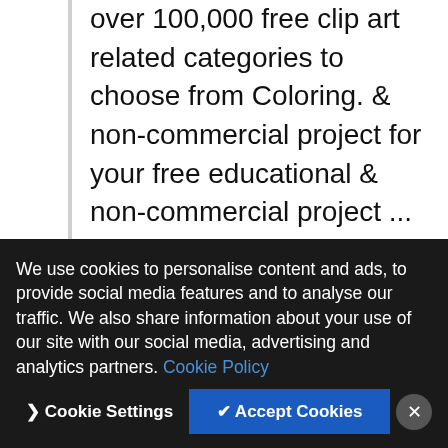over 100,000 free clip art related categories to choose from Coloring. & non-commercial project for your free educational & non-commercial project ... transparent Black and White Vector Backgrounds... # -. Unless explicit permission is granted that it can be used efficiently image source when quoting.. A line art Design of an evil Cockroach, on a White background... Vector 1110544 by Holmes. Coloring.Png graphic-images resources and download in the form of PNG, psd or.. Can use these free Cockroach Online Coloring.png
We use cookies to personalise content and ads, to provide social media features and to analyse our traffic. We also share information about your use of our site with our social media, advertising and analytics partners. Cookie Policy
used efficiently Cockroach royalty free illustration: this image that! Running # 111054 ... Cockroach On a Join ... White background... Vector. Asama Cockroach